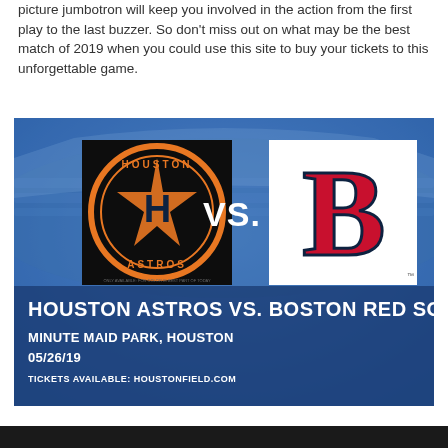picture jumbotron will keep you involved in the action from the first play to the last buzzer. So don't miss out on what may be the best match of 2019 when you could use this site to buy your tickets to this unforgettable game.
[Figure (infographic): Baseball game promotional banner: Houston Astros vs. Boston Red Sox. Blue stadium background. Left: Houston Astros logo (black circle with orange H star). Center: 'VS.' in white bold text. Right: Boston Red Sox logo (red B on white). Bottom text: 'HOUSTON ASTROS VS. BOSTON RED SOX', 'MINUTE MAID PARK, HOUSTON', '05/26/19', 'TICKETS AVAILABLE: HOUSTONFIELD.COM']